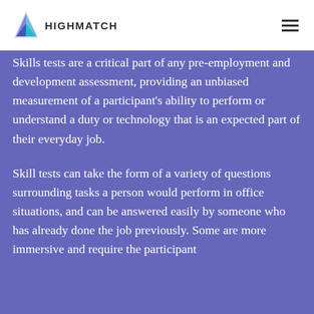[Figure (logo): HighMatch logo with triangular arrow icon and text HIGHMATCH]
Skills tests are a critical part of any pre-employment and development assessment, providing an unbiased measurement of a participant's ability to perform or understand a duty or technology that is an expected part of their everyday job.
Skill tests can take the form of a variety of questions surrounding tasks a person would perform in office situations, and can be answered easily by someone who has already done the job previously. Some are more immersive and require the participant